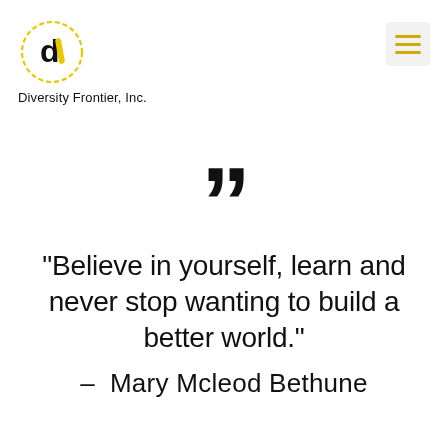[Figure (logo): Diversity Frontier Inc. logo: circle with dashed yellow border containing lowercase 'd' and yellow accent mark, with company name below]
"Believe in yourself, learn and never stop wanting to build a better world."
- Mary Mcleod Bethune